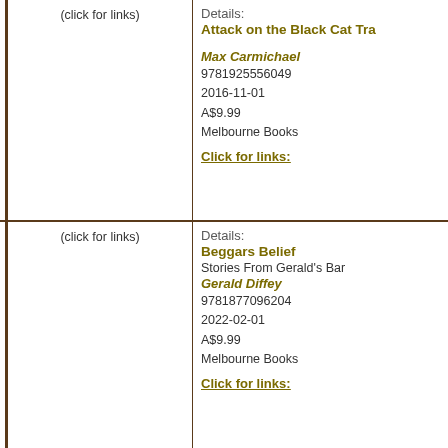(click for links)
Details:
Attack on the Black Cat Tra...
Max Carmichael
9781925556049
2016-11-01
A$9.99
Melbourne Books
Click for links:
(click for links)
Details:
Beggars Belief
Stories From Gerald's Bar
Gerald Diffey
9781877096204
2022-02-01
A$9.99
Melbourne Books
Click for links: